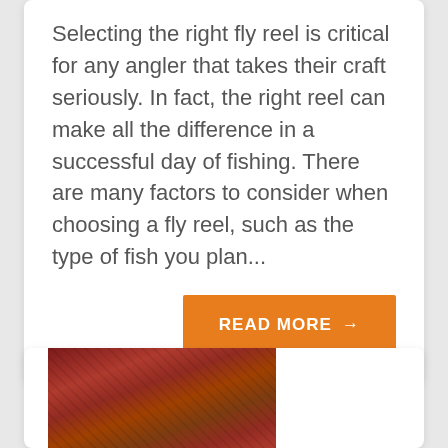Selecting the right fly reel is critical for any angler that takes their craft seriously. In fact, the right reel can make all the difference in a successful day of fishing. There are many factors to consider when choosing a fly reel, such as the type of fish you plan...
READ MORE →
[Figure (photo): Sliced cooked steak on a wooden cutting board, showing red medium-rare interior with pepper seasoning]